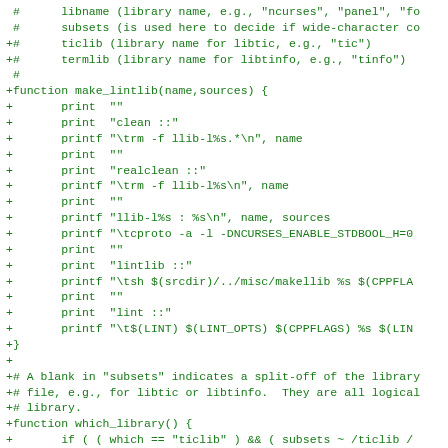[Figure (other): Source code diff showing shell script additions for make_lintlib and which_library functions, with green colored text on white background]